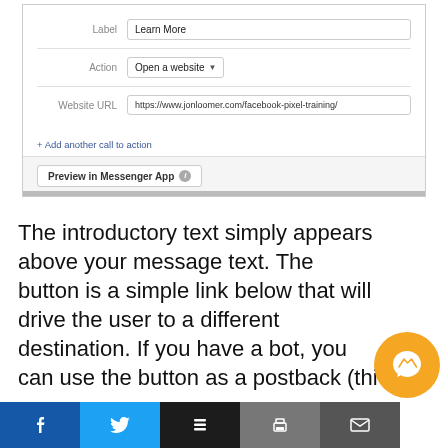[Figure (screenshot): Facebook Messenger ad form screenshot showing Label field with 'Learn More', Action field with 'Open a website' dropdown, Website URL field with 'https://www.jonloomer.com/facebook-pixel-training/', a '+ Add another call to action' link, and a 'Preview in Messenger App' button.]
The introductory text simply appears above your message text. The button is a simple link below that will drive the user to a different destination. If you have a bot, you can use the button as a postback (thi...